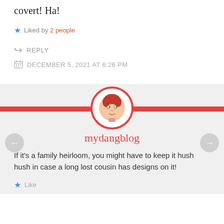covert! Ha!
Liked by 2 people
REPLY
DECEMBER 5, 2021 AT 6:26 PM
[Figure (illustration): Avatar of a cartoon person with red hair inside a red circle, centered on a red horizontal divider bar, with left and right navigation arrows on either side]
mydangblog
If it's a family heirloom, you might have to keep it hush hush in case a long lost cousin has designs on it!
Like